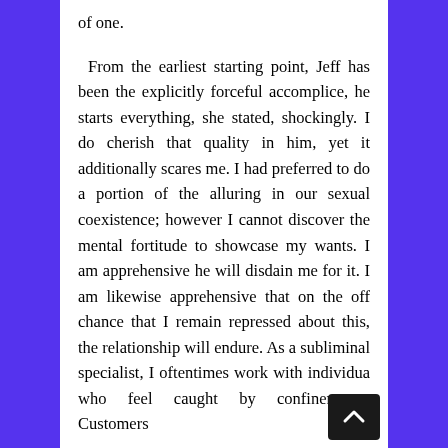of one.
From the earliest starting point, Jeff has been the explicitly forceful accomplice, he starts everything, she stated, shockingly. I do cherish that quality in him, yet it additionally scares me. I had preferred to do a portion of the alluring in our sexual coexistence; however I cannot discover the mental fortitude to showcase my wants. I am apprehensive he will disdain me for it. I am likewise apprehensive that on the off chance that I remain repressed about this, the relationship will endure. As a subliminal specialist, I oftentimes work with individuals who feel caught by confinements. Customers